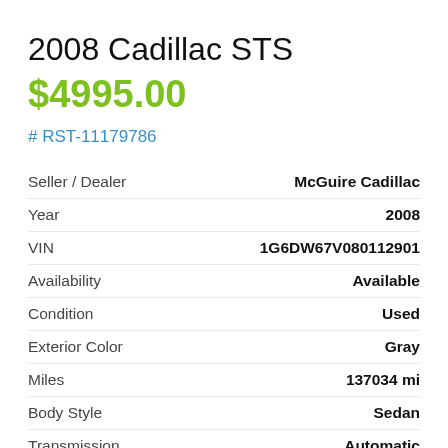2008 Cadillac STS
$4995.00
# RST-11179786
| Field | Value |
| --- | --- |
| Seller / Dealer | McGuire Cadillac |
| Year | 2008 |
| VIN | 1G6DW67V080112901 |
| Availability | Available |
| Condition | Used |
| Exterior Color | Gray |
| Miles | 137034 mi |
| Body Style | Sedan |
| Transmission | Automatic |
| Fuel Type | Gasoline |